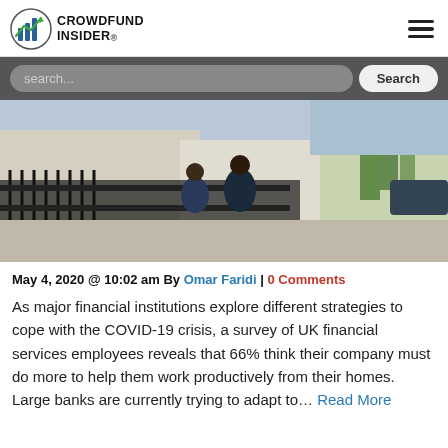CROWDFUND INSIDER
[Figure (photo): Street scene with people walking past iron fence and buildings]
May 4, 2020 @ 10:02 am By Omar Faridi | 0 Comments
As major financial institutions explore different strategies to cope with the COVID-19 crisis, a survey of UK financial services employees reveals that 66% think their company must do more to help them work productively from their homes. Large banks are currently trying to adapt to… Read More